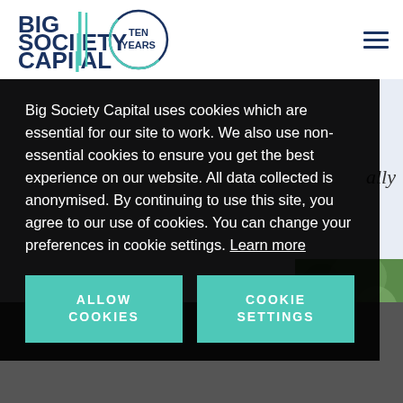[Figure (logo): Big Society Capital logo with 'Ten Years' circular badge]
[Figure (other): Hamburger menu icon (three horizontal lines)]
Big Society Capital uses cookies which are essential for our site to work. We also use non-essential cookies to ensure you get the best experience on our website. All data collected is anonymised. By continuing to use this site, you agree to our use of cookies. You can change your preferences in cookie settings. Learn more
ALLOW COOKIES
COOKIE SETTINGS